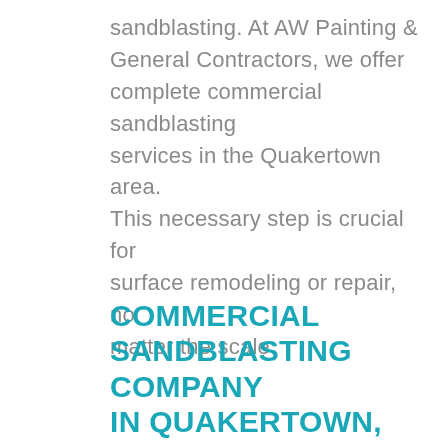sandblasting. At AW Painting & General Contractors, we offer complete commercial sandblasting services in the Quakertown area. This necessary step is crucial for surface remodeling or repair, no matter the scale.
COMMERCIAL SANDBLASTING COMPANY IN QUAKERTOWN, SERVING PHILADELPHIA, NEW JERSEY, DELAWARE, AND LEHIGH VALLEY